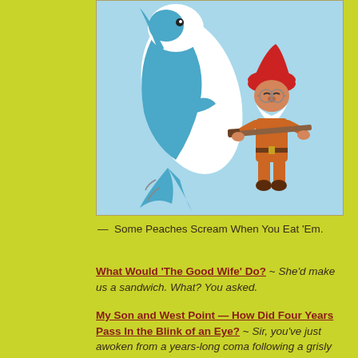[Figure (illustration): Cartoon illustration of a blue-and-white shark standing upright next to a small gnome-like character in orange clothing and red hat holding a rifle, on a light blue background]
— Some Peaches Scream When You Eat 'Em.
What Would 'The Good Wife' Do? ~ She'd make us a sandwich. What? You asked.
My Son and West Point — How Did Four Years Pass In the Blink of an Eye? ~ Sir, you've just awoken from a years-long coma following a grisly accident. We thought someone had already told you.